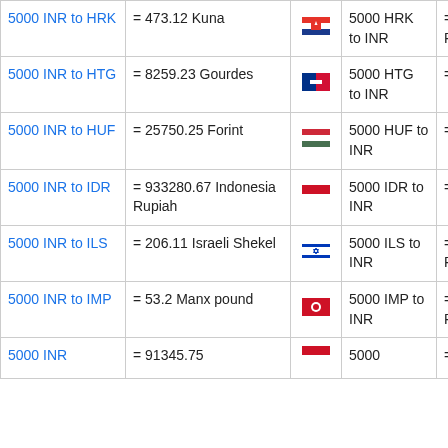| Currency From | Conversion | Flag | Currency To | Result |
| --- | --- | --- | --- | --- |
| 5000 INR to HRK | = 473.12 Kuna |  | 5000 HRK to INR | = 52840.36 Indian Rupees |
| 5000 INR to HTG | = 8259.23 Gourdes |  | 5000 HTG to INR | = 3026.92 Indian Rupees |
| 5000 INR to HUF | = 25750.25 Forint |  | 5000 HUF to INR | = 970.86 Indian Rupees |
| 5000 INR to IDR | = 933280.67 Indonesia Rupiah |  | 5000 IDR to INR | = 26.79 Indian Rupees |
| 5000 INR to ILS | = 206.11 Israeli Shekel |  | 5000 ILS to INR | = 121295.77 Indian Rupees |
| 5000 INR to IMP | = 53.2 Manx pound |  | 5000 IMP to INR | = 469937.75 Indian Rupees |
| 5000 INR | = 91345.75 |  | 5000 | = 272.60 Indian |